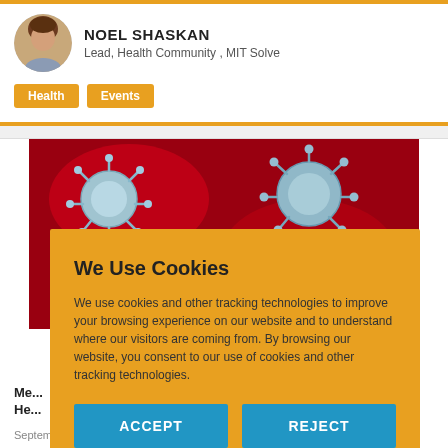[Figure (photo): Headshot avatar of Noel Shaskan]
NOEL SHASKAN
Lead, Health Community , MIT Solve
Health
Events
[Figure (photo): Microscopic image of coronavirus particles, blue/silver on red background]
We Use Cookies
We use cookies and other tracking technologies to improve your browsing experience on our website and to understand where our visitors are coming from. By browsing our website, you consent to our use of cookies and other tracking technologies.
ACCEPT
REJECT
Me...
He...
September 29, 2020